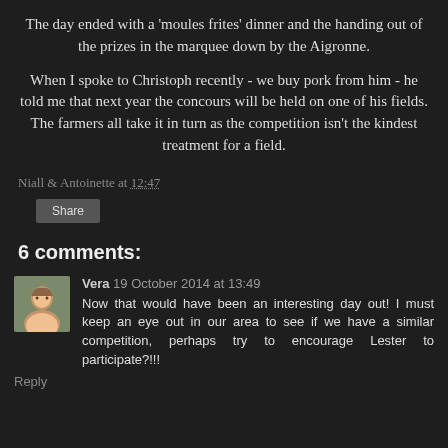The day ended with a 'moules frites' dinner and the handing out of the prizes in the marquee down by the Aigronne.
When I spoke to Christoph recently - we buy pork from him - he told me that next year the concours will be held on one of his fields. The farmers all take it in turn as the competition isn't the kindest treatment for a field.
Niall & Antoinette at 12:47
Share
6 comments:
Vera 19 October 2014 at 13:49
Now that would have been an interesting day out! I must keep an eye out in our area to see if we have a similar competition, perhaps try to encourage Lester to participate?!!!
Reply